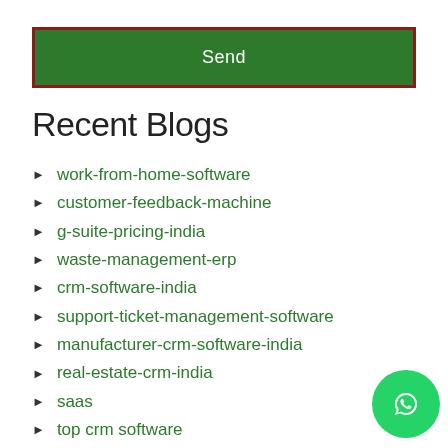Send
Recent Blogs
work-from-home-software
customer-feedback-machine
g-suite-pricing-india
waste-management-erp
crm-software-india
support-ticket-management-software
manufacturer-crm-software-india
real-estate-crm-india
saas
top crm software
India
Uttarakhand
Karnataka
Del...